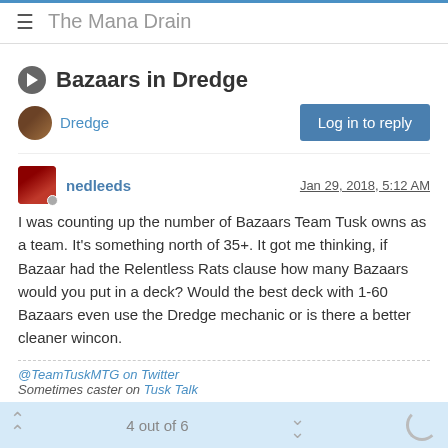The Mana Drain
Bazaars in Dredge
Dredge
nedleeds  Jan 29, 2018, 5:12 AM
I was counting up the number of Bazaars Team Tusk owns as a team. It's something north of 35+. It got me thinking, if Bazaar had the Relentless Rats clause how many Bazaars would you put in a deck? Would the best deck with 1-60 Bazaars even use the Dredge mechanic or is there a better cleaner wincon.
@TeamTuskMTG on Twitter
Sometimes caster on Tusk Talk
1 Reply  ›  0
4 out of 6